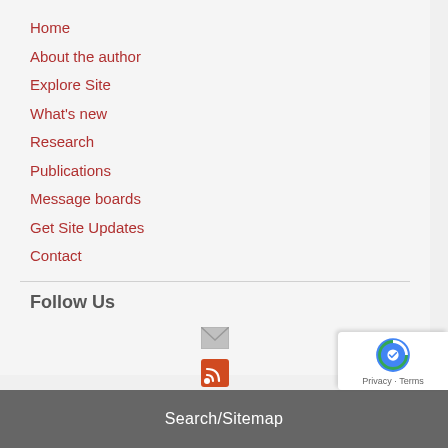Home
About the author
Explore Site
What's new
Research
Publications
Message boards
Get Site Updates
Contact
Follow Us
[Figure (infographic): Email icon (grey envelope) and RSS icon (orange RSS feed symbol)]
Search/Sitemap